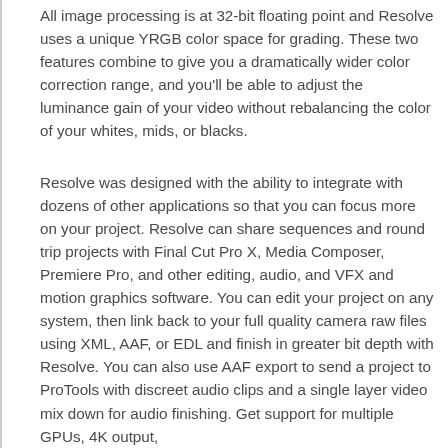All image processing is at 32-bit floating point and Resolve uses a unique YRGB color space for grading. These two features combine to give you a dramatically wider color correction range, and you'll be able to adjust the luminance gain of your video without rebalancing the color of your whites, mids, or blacks.
Resolve was designed with the ability to integrate with dozens of other applications so that you can focus more on your project. Resolve can share sequences and round trip projects with Final Cut Pro X, Media Composer, Premiere Pro, and other editing, audio, and VFX and motion graphics software. You can edit your project on any system, then link back to your full quality camera raw files using XML, AAF, or EDL and finish in greater bit depth with Resolve. You can also use AAF export to send a project to ProTools with discreet audio clips and a single layer video mix down for audio finishing. Get support for multiple GPUs, 4K output,